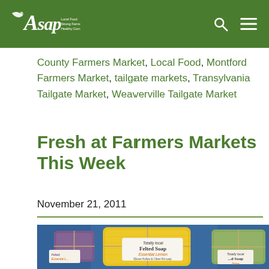ASAP — Local Food, Strong Farms, Healthy Communities
County Farmers Market, Local Food, Montford Farmers Market, tailgate markets, Transylvania Tailgate Market, Weaverville Tailgate Market
Fresh at Farmers Markets This Week
November 21, 2011
[Figure (photo): Photo of felted soap bars wrapped with twine and tags reading 'Felted Soap', 'Totally Local', 'Essential Lemon', 'Stone Hollow & Oliver Rd Soap', and 'Spice' on a blue fabric background]